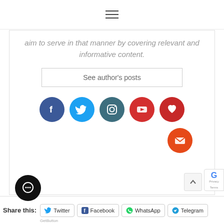[Figure (other): Hamburger menu icon (three horizontal lines)]
aim to serve in that manner by covering relevant and informative content.
See author's posts
[Figure (other): Social media icons row: Facebook (blue), Twitter (light blue), Instagram (teal), YouTube (red), Pinterest/heart (dark red), and an email icon (orange-red)]
Share this:
[Figure (other): Share buttons row: Twitter, Facebook, WhatsApp, Telegram]
[Figure (other): Chat bubble icon (black circle with speech bubble)]
GetButton